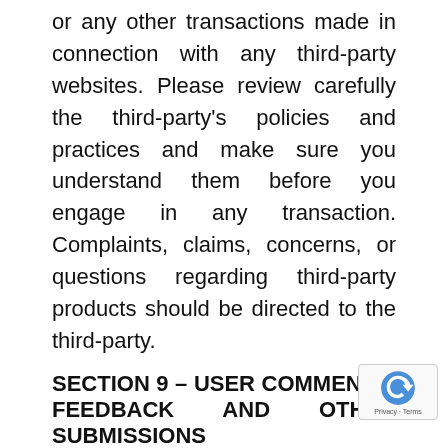or any other transactions made in connection with any third-party websites. Please review carefully the third-party's policies and practices and make sure you understand them before you engage in any transaction. Complaints, claims, concerns, or questions regarding third-party products should be directed to the third-party.
SECTION 9 – USER COMMENTS, FEEDBACK AND OTHER SUBMISSIONS
If, at our request, you send certain specific submissions (for example contest entries) or without a